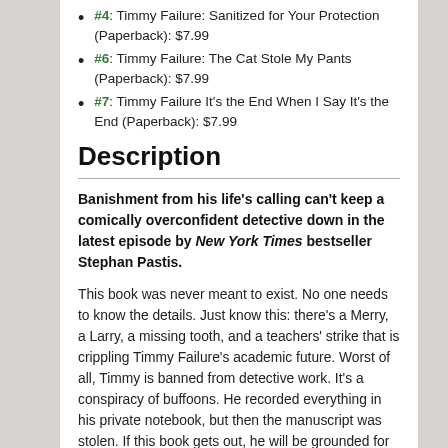#4: Timmy Failure: Sanitized for Your Protection (Paperback): $7.99
#6: Timmy Failure: The Cat Stole My Pants (Paperback): $7.99
#7: Timmy Failure It's the End When I Say It's the End (Paperback): $7.99
Description
Banishment from his life's calling can't keep a comically overconfident detective down in the latest episode by New York Times bestseller Stephan Pastis.
This book was never meant to exist. No one needs to know the details. Just know this: there's a Merry, a Larry, a missing tooth, and a teachers' strike that is crippling Timmy Failure's academic future. Worst of all, Timmy is banned from detective work. It's a conspiracy of buffoons. He recorded everything in his private notebook, but then the manuscript was stolen. If this book gets out, he will be grounded for life. Or maybe longer. And will Timmy's mom really marry Doorman Dave?